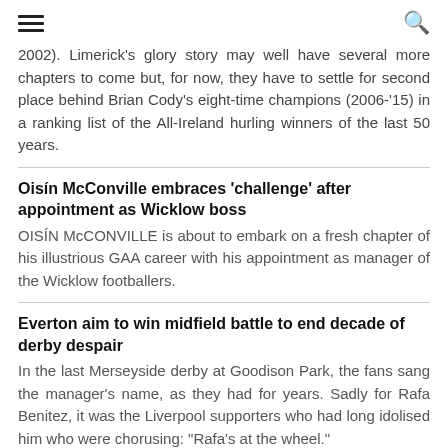☰  🔍
2002). Limerick's glory story may well have several more chapters to come but, for now, they have to settle for second place behind Brian Cody's eight-time champions (2006-'15) in a ranking list of the All-Ireland hurling winners of the last 50 years.
Oisín McConville embraces 'challenge' after appointment as Wicklow boss
OISÍN McCONVILLE is about to embark on a fresh chapter of his illustrious GAA career with his appointment as manager of the Wicklow footballers.
Everton aim to win midfield battle to end decade of derby despair
In the last Merseyside derby at Goodison Park, the fans sang the manager's name, as they had for years. Sadly for Rafa Benitez, it was the Liverpool supporters who had long idolised him who were chorusing: "Rafa's at the wheel."